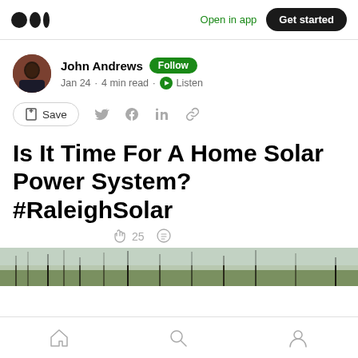Open in app  Get started
John Andrews  Follow
Jan 24 · 4 min read · Listen
Save
Is It Time For A Home Solar Power System? #RaleighSolar
25
[Figure (photo): Outdoor scene with bare winter trees and sky, partially visible at bottom of article listing]
Home  Search  Profile